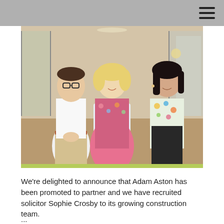[Figure (photo): Three people posing in a modern office setting with a Muckle branded lectern/podium in the center. Left: young man in white shirt and khaki trousers. Center: older woman with blonde hair in a floral/colourful top. Right: young woman with dark hair in a floral blouse and black trousers.]
We're delighted to announce that Adam Aston has been promoted to partner and we have recruited solicitor Sophie Crosby to its growing construction team.
...